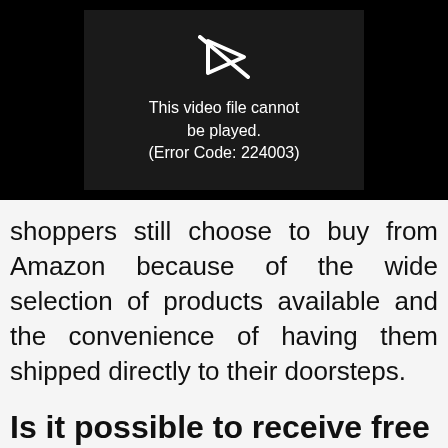[Figure (screenshot): Video player error screen showing a broken video icon and the message: This video file cannot be played. (Error Code: 224003)]
shoppers still choose to buy from Amazon because of the wide selection of products available and the convenience of having them shipped directly to their doorsteps.
Is it possible to receive free delivery on
Amazon items shipped to Mexico?